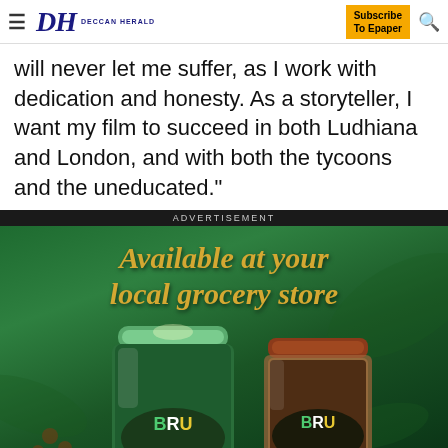DH DECCAN HERALD — Subscribe To Epaper
will never let me suffer, as I work with dedication and honesty. As a storyteller, I want my film to succeed in both Ludhiana and London, and with both the tycoons and the uneducated."
[Figure (photo): BRU coffee advertisement showing two BRU coffee jars (one green, one brown) on a dark green background with gold text reading 'Available at your local grocery store']
ADVERTISEMENT
[Figure (infographic): THE PERSPECTIVE banner ad reading 'SEE WHAT YOU'RE MISSING' with 'READ MORE' button in yellow]